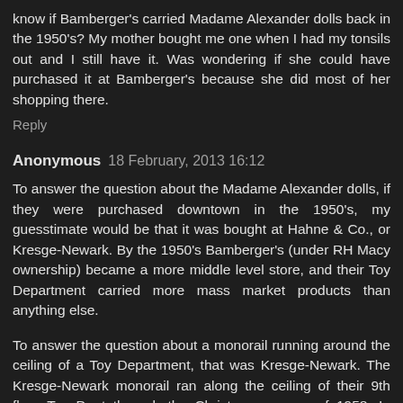know if Bamberger's carried Madame Alexander dolls back in the 1950's? My mother bought me one when I had my tonsils out and I still have it. Was wondering if she could have purchased it at Bamberger's because she did most of her shopping there.
Reply
Anonymous  18 February, 2013 16:12
To answer the question about the Madame Alexander dolls, if they were purchased downtown in the 1950's, my guesstimate would be that it was bought at Hahne & Co., or Kresge-Newark. By the 1950's Bamberger's (under RH Macy ownership) became a more middle level store, and their Toy Department carried more mass market products than anything else.
To answer the question about a monorail running around the ceiling of a Toy Department, that was Kresge-Newark. The Kresge-Newark monorail ran along the ceiling of their 9th floor Toy Dept through the Christmas season of 1958. In 1959 Kresge leased the 8th and 9th floor of their building...